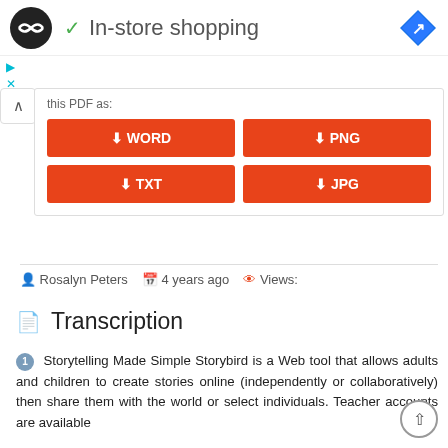In-store shopping
[Figure (screenshot): Download panel with WORD, PNG, TXT, JPG buttons on orange background]
Rosalyn Peters   4 years ago   Views:
Transcription
1 Storytelling Made Simple Storybird is a Web tool that allows adults and children to create stories online (independently or collaboratively) then share them with the world or select individuals. Teacher accounts are available